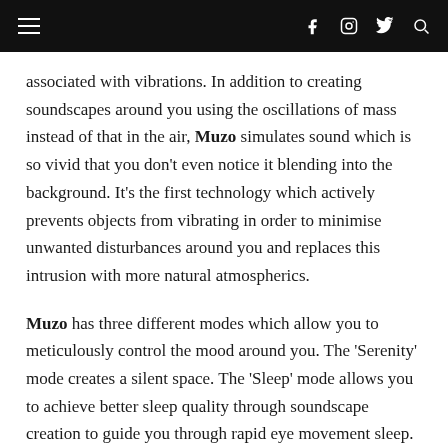Navigation bar with hamburger menu, Facebook, Instagram, Twitter, and Search icons
associated with vibrations. In addition to creating soundscapes around you using the oscillations of mass instead of that in the air, Muzo simulates sound which is so vivid that you don't even notice it blending into the background. It's the first technology which actively prevents objects from vibrating in order to minimise unwanted disturbances around you and replaces this intrusion with more natural atmospherics.
Muzo has three different modes which allow you to meticulously control the mood around you. The 'Serenity' mode creates a silent space. The 'Sleep' mode allows you to achieve better sleep quality through soundscape creation to guide you through rapid eye movement sleep. The 'Secret' mode creates sound masking around you, protecting your privacy of speech. Muzo is possibly the